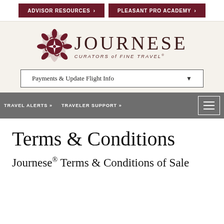ADVISOR RESOURCES > | PLEASANT PRO ACADEMY >
[Figure (logo): Journese logo with ornate dark red emblem and text 'JOURNESE CURATORS of FINE TRAVEL']
Payments & Update Flight Info ▼
TRAVEL ALERTS »  TRAVELER SUPPORT »
Terms & Conditions
Journese® Terms & Conditions of Sale